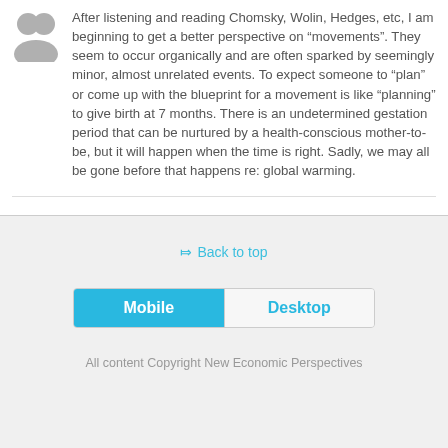[Figure (illustration): Gray avatar/profile silhouette icon]
After listening and reading Chomsky, Wolin, Hedges, etc, I am beginning to get a better perspective on “movements”. They seem to occur organically and are often sparked by seemingly minor, almost unrelated events. To expect someone to “plan” or come up with the blueprint for a movement is like “planning” to give birth at 7 months. There is an undetermined gestation period that can be nurtured by a health-conscious mother-to-be, but it will happen when the time is right. Sadly, we may all be gone before that happens re: global warming.
⌃ Back to top
Mobile  Desktop
All content Copyright New Economic Perspectives